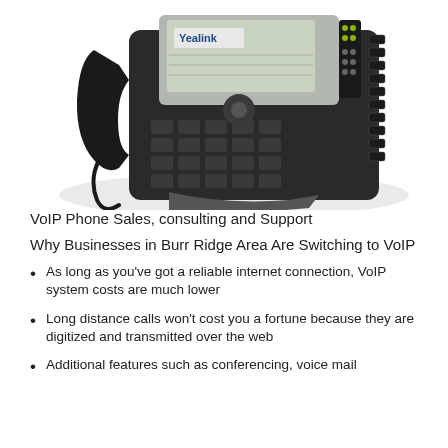[Figure (photo): A Yealink VoIP desk phone shown at an angle, dark grey/black color with a keypad, display screen showing Yealink branding, and side buttons.]
VoIP Phone Sales, consulting and Support
Why Businesses in Burr Ridge Area Are Switching to VoIP
As long as you've got a reliable internet connection, VoIP system costs are much lower
Long distance calls won't cost you a fortune because they are digitized and transmitted over the web
Additional features such as conferencing, voice mail